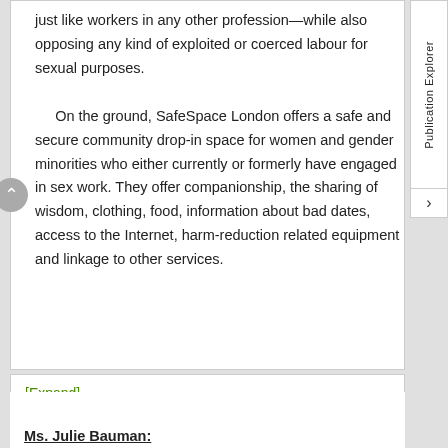just like workers in any other profession—while also opposing any kind of exploited or coerced labour for sexual purposes.

On the ground, SafeSpace London offers a safe and secure community drop-in space for women and gender minorities who either currently or formerly have engaged in sex work. They offer companionship, the sharing of wisdom, clothing, food, information about bad dates, access to the Internet, harm-reduction related equipment and linkage to other services.
[Expand]
Ms. Julie Bauman: